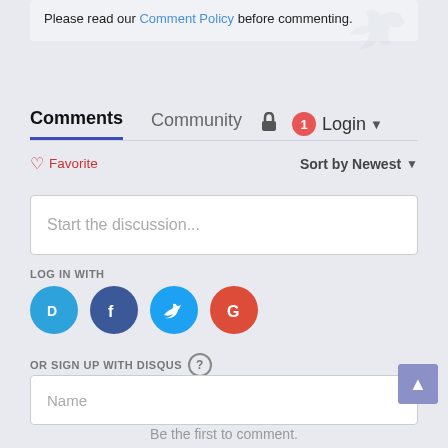Please read our Comment Policy before commenting.
Comments  Community  Login
Favorite  Sort by Newest
Start the discussion...
LOG IN WITH
[Figure (logo): Social login icons: Disqus (D), Facebook (f), Twitter bird, Google (G)]
OR SIGN UP WITH DISQUS ?
Name
Be the first to comment.